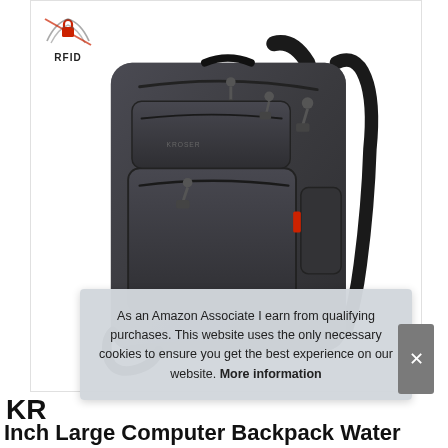[Figure (photo): A dark grey/charcoal laptop backpack with multiple zippered compartments, RFID protection badge shown at top left, black straps and hardware, red accent detail, brand label KROSER on front, photographed on white background.]
As an Amazon Associate I earn from qualifying purchases. This website uses the only necessary cookies to ensure you get the best experience on our website. More information
KR... Inch Large Computer Backpack Water...